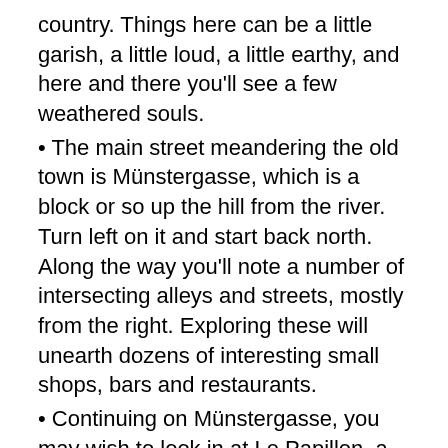country. Things here can be a little garish, a little loud, a little earthy, and here and there you'll see a few weathered souls.
The main street meandering the old town is Münstergasse, which is a block or so up the hill from the river. Turn left on it and start back north. Along the way you'll note a number of intersecting alleys and streets, mostly from the right. Exploring these will unearth dozens of interesting small shops, bars and restaurants.
Continuing on Münstergasse, you may wish to look in at Le Papillon, a 21st century Art Deco furniture store.
If your walk is at night, you can stop at the Casa Bar for some live Jazz. There is a tiny stage, about a dozen bar stools and a few tables. You are very close to the musicians. The night of our visit, six 60ish Australians, calling themselves the Spirit of New Orleans, wailed away on drums, clarinet/sax,